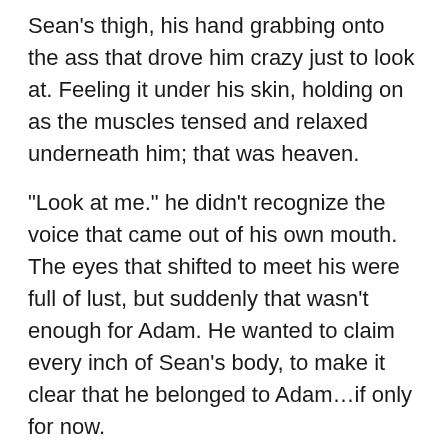Sean's thigh, his hand grabbing onto the ass that drove him crazy just to look at. Feeling it under his skin, holding on as the muscles tensed and relaxed underneath him; that was heaven.
“Look at me.” he didn’t recognize the voice that came out of his own mouth. The eyes that shifted to meet his were full of lust, but suddenly that wasn’t enough for Adam. He wanted to claim every inch of Sean’s body, to make it clear that he belonged to Adam…if only for now.
Unable to reign in his self-control any longer Adam pulled Sean up against him, so they were connected from waist to shoulders, and devoured that sweet, hot mouth. His dark eyes stayed locked on Sean’s sea green ones and he was grateful the other man didn’t look away; it would have felt too much like rejection in that moment.